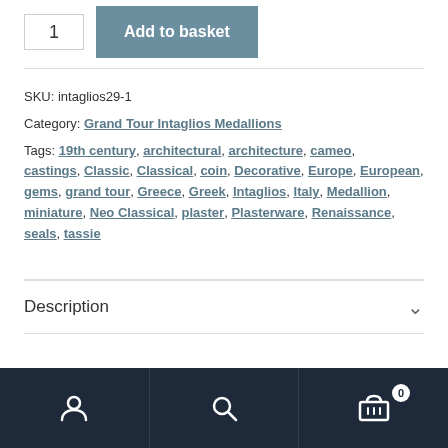SKU: intaglios29-1
Category: Grand Tour Intaglios Medallions
Tags: 19th century, architectural, architecture, cameo, castings, Classic, Classical, coin, Decorative, Europe, European, gems, grand tour, Greece, Greek, Intaglios, Italy, Medallion, miniature, Neo Classical, plaster, Plasterware, Renaissance, seals, tassie
Description
User icon, Search icon, Basket icon with badge 0